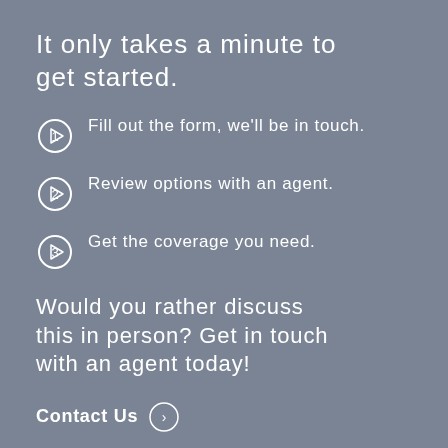It only takes a minute to get started.
Fill out the form, we'll be in touch.
Review options with an agent.
Get the coverage you need.
Would you rather discuss this in person? Get in touch with an agent today!
Contact Us →